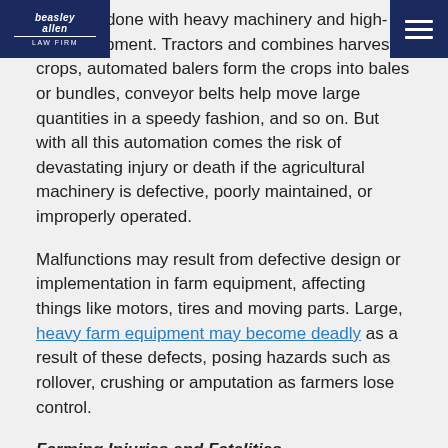Beasley Allen Law Firm logo and navigation menu
States is done with heavy machinery and high-tech equipment. Tractors and combines harvest crops, automated balers form the crops into bales or bundles, conveyor belts help move large quantities in a speedy fashion, and so on. But with all this automation comes the risk of devastating injury or death if the agricultural machinery is defective, poorly maintained, or improperly operated.
Malfunctions may result from defective design or implementation in farm equipment, affecting things like motors, tires and moving parts. Large, heavy farm equipment may become deadly as a result of these defects, posing hazards such as rollover, crushing or amputation as farmers lose control.
Farming Injuries and Fatalities